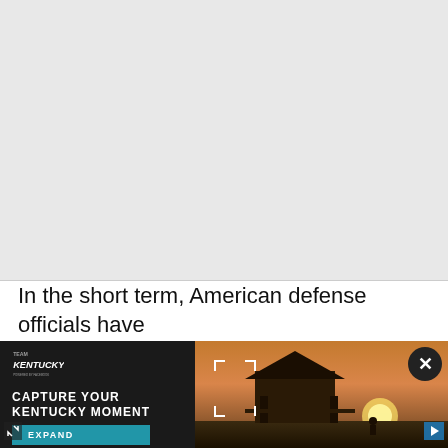[Figure (other): Gray placeholder area at the top of the page, representing content above the fold]
In the short term, American defense officials have
[Figure (infographic): Team Kentucky advertisement banner. Left side: dark background with Team Kentucky logo, text 'CAPTURE YOUR KENTUCKY MOMENT' and a teal 'EXPAND' button. Right side: outdoor sunset/pavilion landscape photo with bracket overlay UI elements and a close (X) button.]